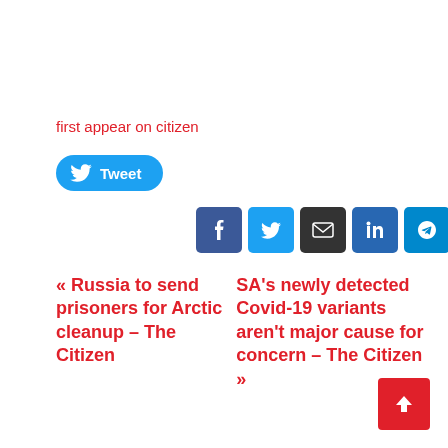first appear on citizen
[Figure (screenshot): Tweet share button (blue rounded pill with Twitter bird icon and 'Tweet' text)]
[Figure (screenshot): Social share icon buttons: Facebook (blue), Twitter (light blue), Email (dark), LinkedIn (blue), Telegram (teal), Pinterest (red)]
« Russia to send prisoners for Arctic cleanup – The Citizen
SA's newly detected Covid-19 variants aren't major cause for concern – The Citizen »
[Figure (other): Back to top button (red square with white up arrow)]